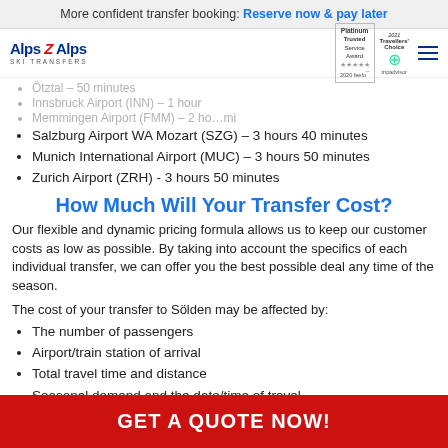More confident transfer booking: Reserve now & pay later
[Figure (logo): Alps 2 Alps Ski Transfers logo with Platinum Trusted Service Award feefo badge and Travellers Choice Tripadvisor badge]
Ötztal – 50 minutes (faded/background)
Innsbruck Airport (INN) – 1 hour (faded/background)
Memmingen Airport (FMM) – 2 hours (faded/background)
Salzburg Airport WA Mozart (SZG) – 3 hours 40 minutes
Munich International Airport (MUC) – 3 hours 50 minutes
Zurich Airport (ZRH) - 3 hours 50 minutes
How Much Will Your Transfer Cost?
Our flexible and dynamic pricing formula allows us to keep our customer costs as low as possible. By taking into account the specifics of each individual transfer, we can offer you the best possible deal any time of the season.
The cost of your transfer to Sölden may be affected by:
The number of passengers
Airport/train station of arrival
Total travel time and distance
Seasonal demand and the date/time of travel (partially visible)
GET A QUOTE NOW!